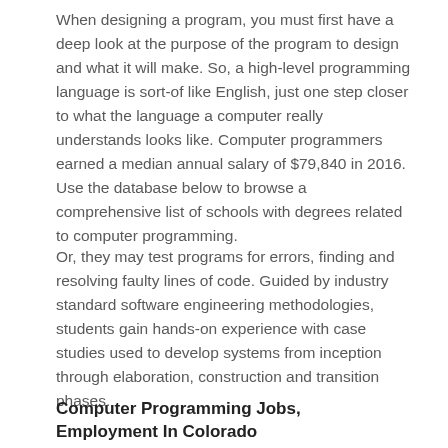When designing a program, you must first have a deep look at the purpose of the program to design and what it will make. So, a high-level programming language is sort-of like English, just one step closer to what the language a computer really understands looks like. Computer programmers earned a median annual salary of $79,840 in 2016. Use the database below to browse a comprehensive list of schools with degrees related to computer programming.
Or, they may test programs for errors, finding and resolving faulty lines of code. Guided by industry standard software engineering methodologies, students gain hands-on experience with case studies used to develop systems from inception through elaboration, construction and transition phases.
Computer Programming Jobs, Employment In Colorado